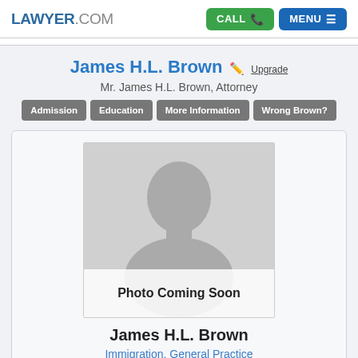LAWYER.COM | CALL | MENU
James H.L. Brown ✏ Upgrade
Mr. James H.L. Brown, Attorney
Admission | Education | More Information | Wrong Brown?
[Figure (photo): Placeholder silhouette image with text 'Photo Coming Soon']
James H.L. Brown
Immigration, General Practice
http://www.brownlawpractice.com/